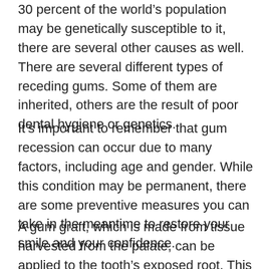30 percent of the world’s population may be genetically susceptible to it, there are several other causes as well. There are several different types of receding gums. Some of them are inherited, others are the result of poor dental hygiene or genetics.
It’s important to remember that gum recession can occur due to many factors, including age and gender. While this condition may be permanent, there are some preventive measures you can take in the meantime to restore your smile and your confidence.
A gum graft, which is made from tissue harvested from the palate, can be applied to the tooth’s exposed root. This procedure usually requires a week of recovery, so